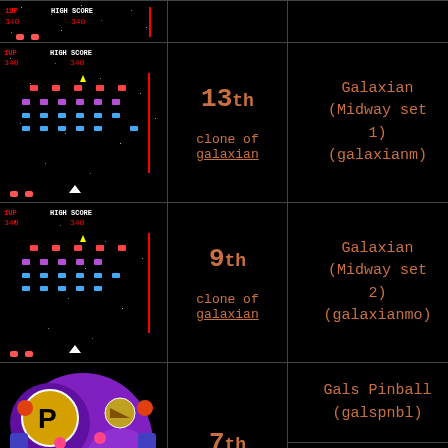[Figure (screenshot): Partial top row: Galaxian arcade game screenshot (top strip)]
[Figure (screenshot): Galaxian arcade game screenshot - clone of galaxian (Midway set 1)]
13th

clone of
galaxian
Galaxian (Midway set 1) (galaxianm)
Damon (@)
[Figure (screenshot): Galaxian arcade game screenshot - clone of galaxian (Midway set 2)]
9th

clone of
galaxian
Galaxian (Midway set 2) (galaxianmo)
Damon (@)
[Figure (screenshot): Gals Pinball arcade game screenshot]
7th
Gals Pinball (galspnbl)
Damon (@)
3,800000 with 2 them..arrgh, shou.
[Figure (screenshot): Bottom partial row: Galaxian arcade game screenshot strip]